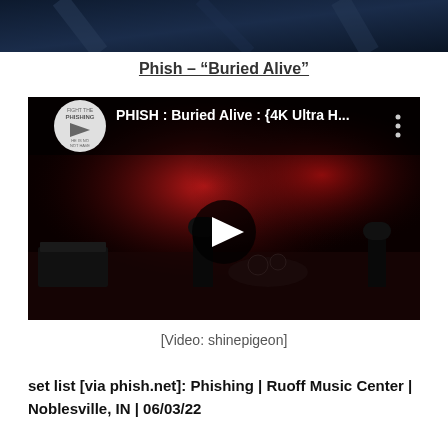[Figure (photo): Top portion of a dark blue background image, partially cropped at the top of the page]
Phish – “Buried Alive”
[Figure (screenshot): YouTube video thumbnail showing Phish performing on stage with red stage lighting. Title reads: PHISH : Buried Alive : {4K Ultra H... with a play button in the center. A channel logo is visible in the top left corner.]
[Video: shinepigeon]
set list [via phish.net]: Phishing | Ruoff Music Center | Noblesville, IN | 06/03/22